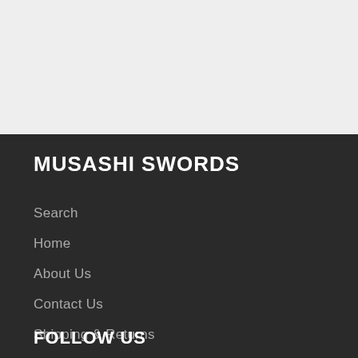[Figure (other): Light gray top area (header/banner region background)]
MUSASHI SWORDS
Search
Home
About Us
Contact Us
Shipping & Returns
Conditions of Use
Privacy Notice
Disclosure
FOLLOW US